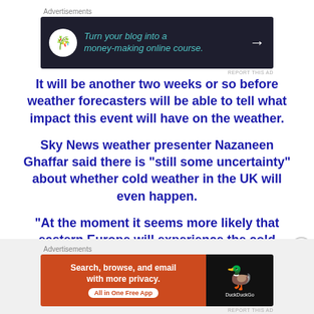[Figure (other): Advertisement banner: dark background with bonsai tree icon, teal italic text 'Turn your blog into a money-making online course.' and white arrow]
It will be another two weeks or so before weather forecasters will be able to tell what impact this event will have on the weather.
Sky News weather presenter Nazaneen Ghaffar said there is “still some uncertainty” about whether cold weather in the UK will even happen.
“At the moment it seems more likely that eastern Europe will experience the cold weather at the start of
[Figure (other): Advertisement banner: DuckDuckGo ad with orange left side reading 'Search, browse, and email with more privacy. All in One Free App' and black right side with duck logo]